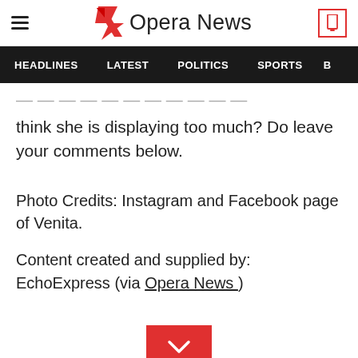Opera News
HEADLINES   LATEST   POLITICS   SPORTS   B
think she is displaying too much? Do leave your comments below.
Photo Credits: Instagram and Facebook page of Venita.
Content created and supplied by: EchoExpress (via Opera News )
[Figure (other): Red chevron/down-arrow button]